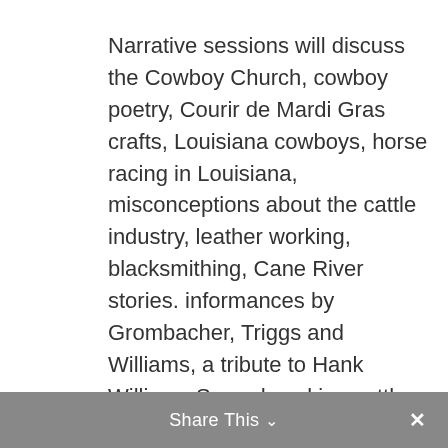Narrative sessions will discuss the Cowboy Church, cowboy poetry, Courir de Mardi Gras crafts, Louisiana cowboys, horse racing in Louisiana, misconceptions about the cattle industry, leather working, blacksmithing, Cane River stories. informances by Grombacher, Triggs and Williams, a tribute to Hank Williams Sr. and working cattle dogs.
Share This ∨  ✕